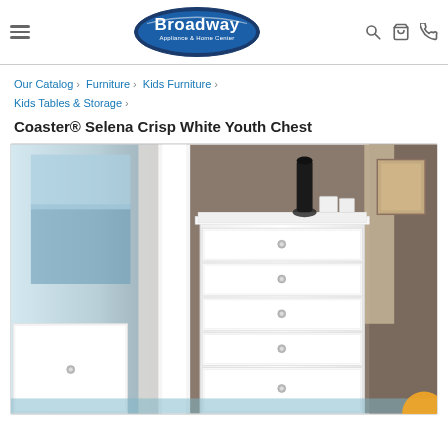Broadway Appliance & Home Center — navigation header with logo, search, cart, and phone icons
Our Catalog › Furniture › Kids Furniture › Kids Tables & Storage ›
Coaster® Selena Crisp White Youth Chest
[Figure (photo): Photo of a white youth chest of drawers with five drawers and silver knobs, styled in a bedroom setting with a dark vase, white cups on top, and a coastal window view in the background.]